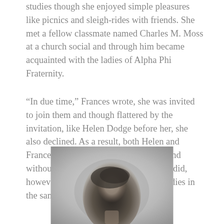studies though she enjoyed simple pleasures like picnics and sleigh-rides with friends. She met a fellow classmate named Charles M. Moss at a church social and through him became acquainted with the ladies of Alpha Phi Fraternity.
“In due time,” Frances wrote, she was invited to join them and though flattered by the invitation, like Helen Dodge before her, she also declined. As a result, both Helen and Frances found themselves quite alone and without many friends on campus. They did, however, encounter two more young ladies in the same predicament.
[Figure (photo): Black and white portrait photograph of a young woman, cropped to show head and upper body, with hair styled up.]